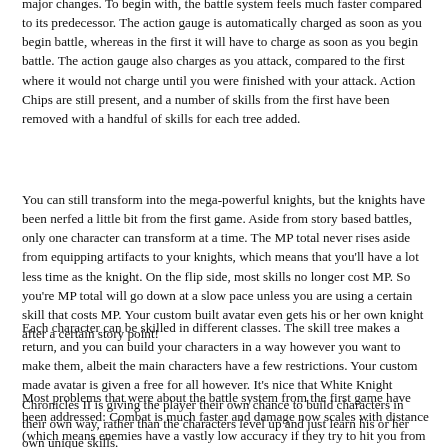major changes. To begin with, the battle system feels much faster compared to its predecessor. The action gauge is automatically charged as soon as you begin battle, whereas in the first it will have to charge as soon as you begin battle. The action gauge also charges as you attack, compared to the first where it would not charge until you were finished with your attack. Action Chips are still present, and a number of skills from the first have been removed with a handful of skills for each tree added.
You can still transform into the mega-powerful knights, but the knights have been nerfed a little bit from the first game. Aside from story based battles, only one character can transform at a time. The MP total never rises aside from equipping artifacts to your knights, which means that you'll have a lot less time as the knight. On the flip side, most skills no longer cost MP. So you're MP total will go down at a slow pace unless you are using a certain skill that costs MP. Your custom built avatar even gets his or her own knight after a certain story point!
Each character can be skilled in different classes. The skill tree makes a return, and you can build your characters in a way however you want to make them, albeit the main characters have a few restrictions. Your custom made avatar is given a free for all however. It's nice that White Knight Chronicles II is giving the player their own chance to build characters in their own way, rather than the characters level up and just learn his or her own unique skills.
Most problems that were about the battle system from the first game have been addressed: Combat is much faster and damage now scales with distance (which means enemies have a vastly low accuracy if they try to hit you from too far away).